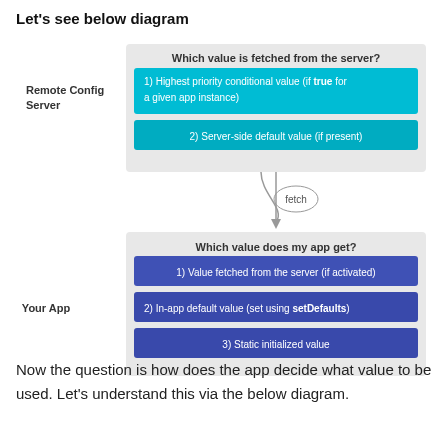Let's see below diagram
[Figure (flowchart): A two-box diagram showing Remote Config Server (top) and Your App (bottom) connected by a 'fetch' arrow. The server box contains: 'Which value is fetched from the server?' with two teal rows: '1) Highest priority conditional value (if true for a given app instance)' and '2) Server-side default value (if present)'. The app box contains: 'Which value does my app get?' with three blue rows: '1) Value fetched from the server (if activated)', '2) In-app default value (set using setDefaults)', '3) Static initialized value'.]
Now the question is how does the app decide what value to be used. Let's understand this via the below diagram.